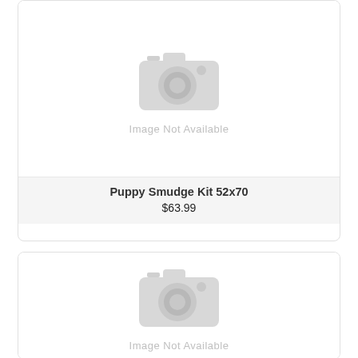[Figure (photo): Image not available placeholder with camera icon]
Image Not Available
Puppy Smudge Kit 52x70
$63.99
[Figure (photo): Image not available placeholder with camera icon]
Image Not Available